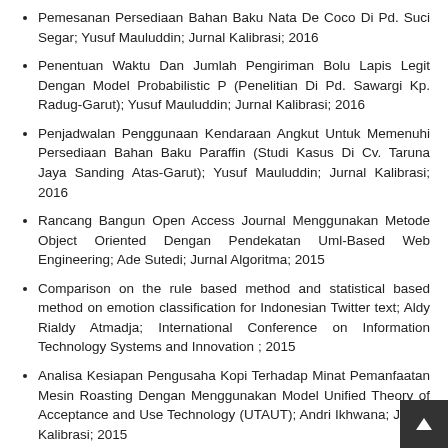Pemesanan Persediaan Bahan Baku Nata De Coco Di Pd. Suci Segar; Yusuf Mauluddin; Jurnal Kalibrasi; 2016
Penentuan Waktu Dan Jumlah Pengiriman Bolu Lapis Legit Dengan Model Probabilistic P (Penelitian Di Pd. Sawargi Kp. Radug-Garut); Yusuf Mauluddin; Jurnal Kalibrasi; 2016
Penjadwalan Penggunaan Kendaraan Angkut Untuk Memenuhi Persediaan Bahan Baku Paraffin (Studi Kasus Di Cv. Taruna Jaya Sanding Atas-Garut); Yusuf Mauluddin; Jurnal Kalibrasi; 2016
Rancang Bangun Open Access Journal Menggunakan Metode Object Oriented Dengan Pendekatan Uml-Based Web Engineering; Ade Sutedi; Jurnal Algoritma; 2015
Comparison on the rule based method and statistical based method on emotion classification for Indonesian Twitter text; Aldy Rialdy Atmadja; International Conference on Information Technology Systems and Innovation ; 2015
Analisa Kesiapan Pengusaha Kopi Terhadap Minat Pemanfaatan Mesin Roasting Dengan Menggunakan Model Unified Theory of Acceptance and Use Technology (UTAUT); Andri Ikhwana; Jurnal Kalibrasi; 2015